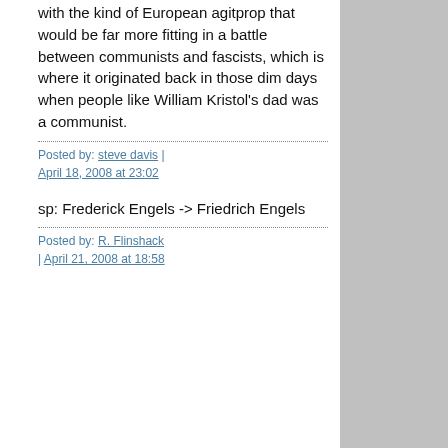with the kind of European agitprop that would be far more fitting in a battle between communists and fascists, which is where it originated back in those dim days when people like William Kristol's dad was a communist.
Posted by: steve davis | April 18, 2008 at 23:02
sp: Frederick Engels -> Friedrich Engels
Posted by: R. Flinshack | April 21, 2008 at 18:58